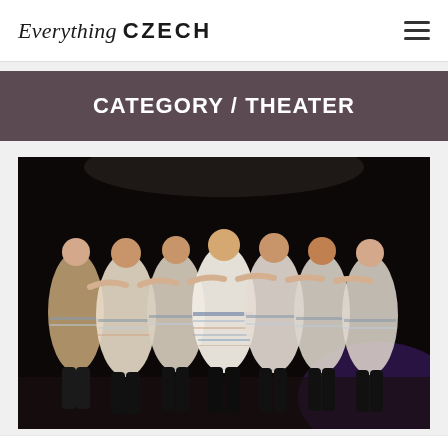Everything CZECH
CATEGORY / THEATER
[Figure (photo): A line of female dancers in traditional Czech folk costumes — white and blue embroidered dresses with full skirts, puffed sleeves, and black boots — performing on a dark stage, holding hands and dancing together.]